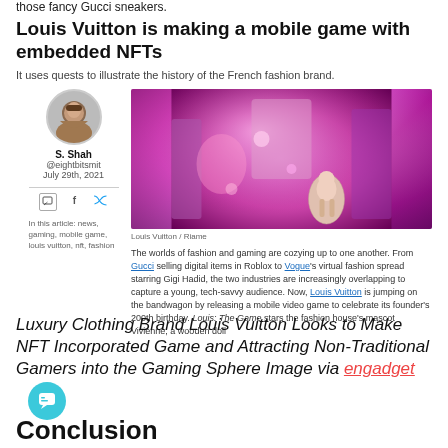those fancy Gucci sneakers.
Louis Vuitton is making a mobile game with embedded NFTs
It uses quests to illustrate the history of the French fashion brand.
S. Shah
@eightbitsmit
July 29th, 2021
In this article: news, gaming, mobile game, louis vuitton, nft, fashion
[Figure (photo): Screenshot of Louis Vuitton mobile game showing a pink/purple virtual world with a white doll character wearing LV-branded clothing]
Louis Vuitton / Riame
The worlds of fashion and gaming are cozying up to one another. From Gucci selling digital items in Roblox to Vogue's virtual fashion spread starring Gigi Hadid, the two industries are increasingly overlapping to capture a young, tech-savvy audience. Now, Louis Vuitton is jumping on the bandwagon by releasing a mobile video game to celebrate its founder's 200th birthday. Louis: The Game stars the fashion house's mascot Vivienne, a wooden doll
Luxury Clothing Brand Louis Vuitton Looks to Make NFT Incorporated Game and Attracting Non-Traditional Gamers into the Gaming Sphere Image via engadget
Conclusion